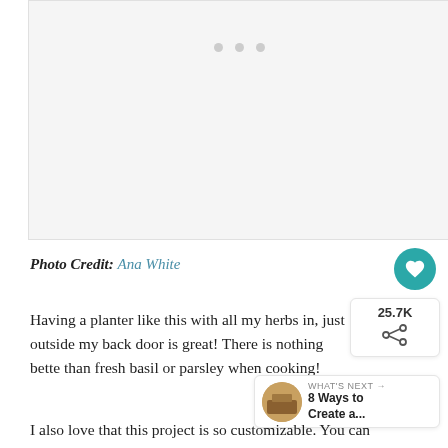[Figure (photo): Image placeholder with three dots indicating a loading carousel or slideshow]
Photo Credit: Ana White
Having a planter like this with all my herbs in, just outside my back door is great! There is nothing better than fresh basil or parsley when cooking!
I also love that this project is so customizable. You can